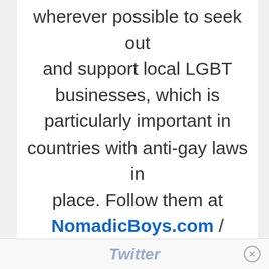wherever possible to seek out and support local LGBT businesses, which is particularly important in countries with anti-gay laws in place. Follow them at NomadicBoys.com / Facebook / Instagram / Pinterest / YouTube /
Twitter